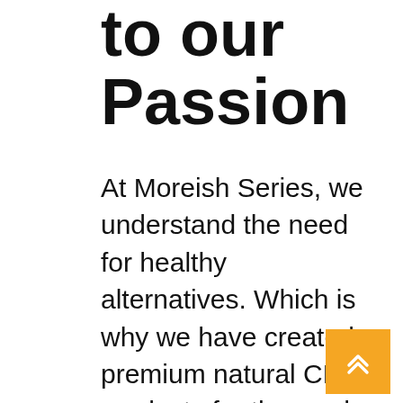to our Passion
At Moreish Series, we understand the need for healthy alternatives. Which is why we have created premium natural CBD products for those who want to improve their lifestyle and live better. We are committed to
[Figure (other): Yellow/amber scroll-to-top button with double chevron up arrow icon, positioned bottom right corner]